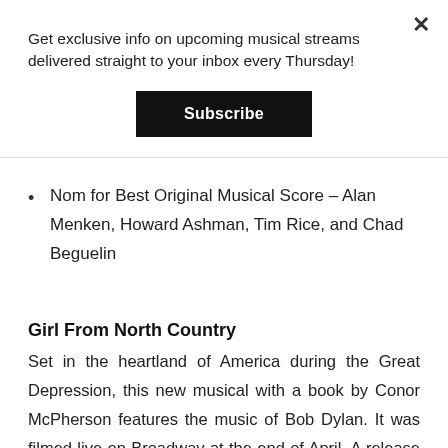Get exclusive info on upcoming musical streams delivered straight to your inbox every Thursday!
Subscribe
Nom for Best Original Musical Score – Alan Menken, Howard Ashman, Tim Rice, and Chad Beguelin
Girl From North Country
Set in the heartland of America during the Great Depression, this new musical with a book by Conor McPherson features the music of Bob Dylan. It was filmed live on Broadway at the end of April. A release date has yet to be announced.